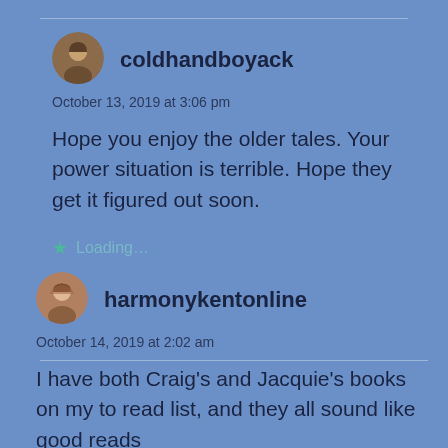coldhandboyack
October 13, 2019 at 3:06 pm
Hope you enjoy the older tales. Your power situation is terrible. Hope they get it figured out soon.
Loading...
harmonykentonline
October 14, 2019 at 2:02 am
I have both Craig's and Jacquie's books on my to read list, and they all sound like good reads